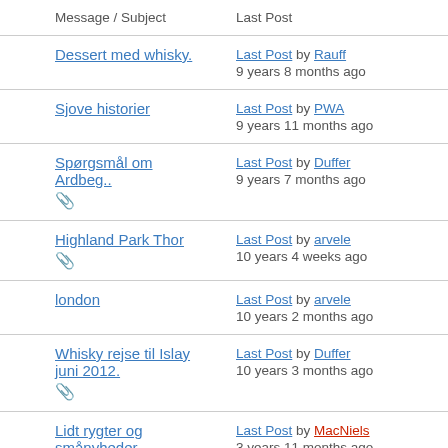| Message / Subject | Last Post |
| --- | --- |
| Dessert med whisky. | Last Post by Rauff
9 years 8 months ago |
| Sjove historier | Last Post by PWA
9 years 11 months ago |
| Spørgsmål om Ardbeg.. [attachment] | Last Post by Duffer
9 years 7 months ago |
| Highland Park Thor [attachment] | Last Post by arvele
10 years 4 weeks ago |
| london | Last Post by arvele
10 years 2 months ago |
| Whisky rejse til Islay juni 2012. [attachment] | Last Post by Duffer
10 years 3 months ago |
| Lidt rygter og smånyheder [attachment] | Last Post by MacNiels
3 years 11 months ago |